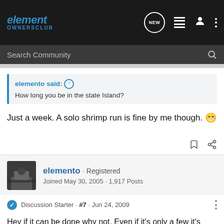element OWNERSCLUB
elemento said: ↑
How long you be in the state Island?
Just a week. A solo shrimp run is fine by me though. 😁
elemento · Registered
Joined May 30, 2005 · 1,917 Posts
Discussion Starter · #7 · Jun 24, 2009
Hey if it can be done why not. Even if it's only a few it's better